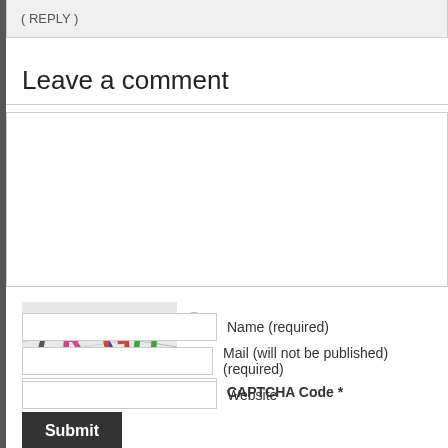( REPLY )
Leave a comment
[Figure (screenshot): CAPTCHA image showing characters: 7 R X G H with colorful distorted letters on light grey background]
CAPTCHA Code *
Name (required)
Mail (will not be published) (required)
Website
Submit